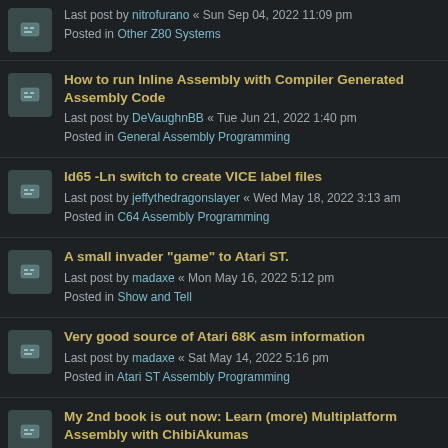Last post by nitrofurano « Sun Sep 04, 2022 11:09 pm
Posted in Other Z80 Systems
How to run Inline Assembly with Compiler Generated Assembly Code
Last post by DeVaughnBB « Tue Jun 21, 2022 1:40 pm
Posted in General Assembly Programming
ld65 -Ln switch to create VICE label files
Last post by jeffythedragonslayer « Wed May 18, 2022 3:13 am
Posted in C64 Assembly Programming
A small invader "game" to Atari ST.
Last post by madaxe « Mon May 16, 2022 5:12 pm
Posted in Show and Tell
Very good source of Atari 68K asm information
Last post by madaxe « Sat May 14, 2022 5:16 pm
Posted in Atari ST Assembly Programming
My 2nd book is out now: Learn (more) Multiplatform Assembly with ChibiAkumas
Last post by akuyou « Sat Mar 19, 2022 1:14 am
Posted in Chibi-News!
Seasons Greetings!